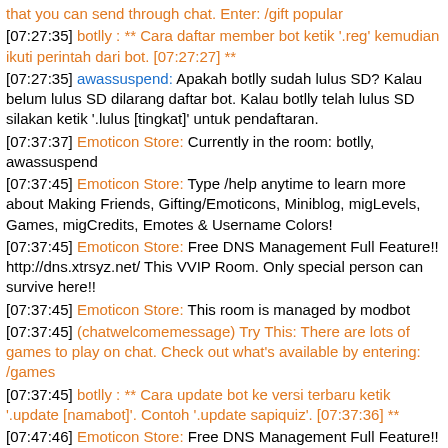that you can send through chat. Enter: /gift popular
[07:27:35] botlly : ** Cara daftar member bot ketik '.reg' kemudian ikuti perintah dari bot. [07:27:27] **
[07:27:35] awassuspend: Apakah botlly sudah lulus SD? Kalau belum lulus SD dilarang daftar bot. Kalau botlly telah lulus SD silakan ketik '.lulus [tingkat]' untuk pendaftaran.
[07:37:37] Emoticon Store: Currently in the room: botlly, awassuspend
[07:37:45] Emoticon Store: Type /help anytime to learn more about Making Friends, Gifting/Emoticons, Miniblog, migLevels, Games, migCredits, Emotes & Username Colors!
[07:37:45] Emoticon Store: Free DNS Management Full Feature!! http://dns.xtrsyz.net/ This VVIP Room. Only special person can survive here!!
[07:37:45] Emoticon Store: This room is managed by modbot
[07:37:45] (chatwelcomemessage) Try This: There are lots of games to play on chat. Check out what's available by entering: /games
[07:37:45] botlly : ** Cara update bot ke versi terbaru ketik '.update [namabot]'. Contoh '.update sapiquiz'. [07:37:36] **
[07:47:46] Emoticon Store: Free DNS Management Full Feature!! http://dns.xtrsyz.net/ This VVIP Room. Only special person can survive here!!